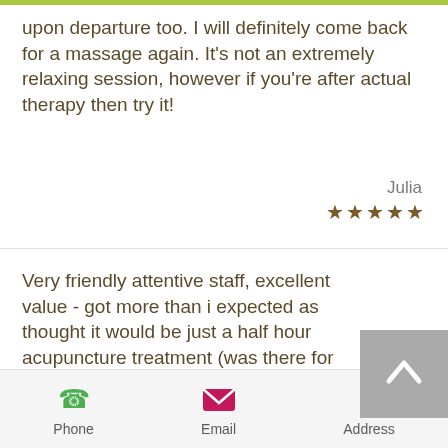upon departure too. I will definitely come back for a massage again. It's not an extremely relaxing session, however if you're after actual therapy then try it!
Julia ★★★★★
Very friendly attentive staff, excellent value - got more than i expected as thought it would be just a half hour acupuncture treatment (was there for over an hour). I will be returning!
Caroline ★★★★★
Phone  Email  Address